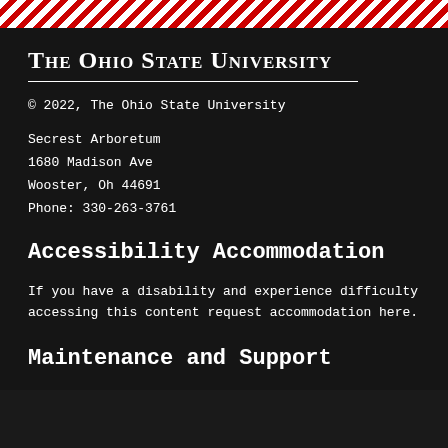[Figure (other): Red and white diagonal stripe decorative header band]
The Ohio State University
© 2022, The Ohio State University
Secrest Arboretum
1680 Madison Ave
Wooster, Oh 44691
Phone: 330-263-3761
Accessibility Accommodation
If you have a disability and experience difficulty accessing this content request accommodation here.
Maintenance and Support